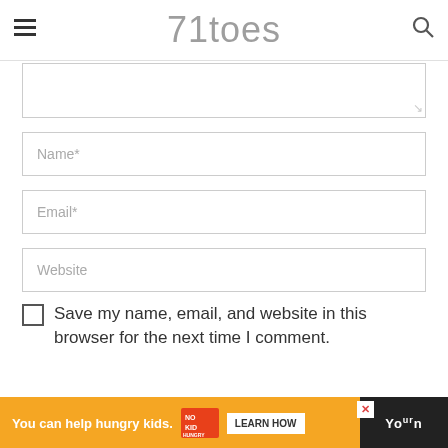71toes
[Figure (screenshot): Comment form with textarea (partially visible at top), Name, Email, and Website input fields, a checkbox for saving browser info, and an advertisement banner at the bottom for No Kid Hungry.]